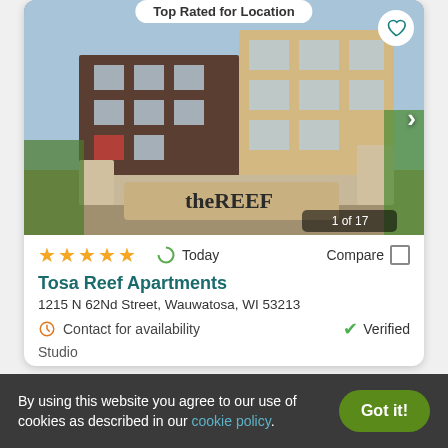Top Rated for Location
[Figure (photo): Exterior photo of The Reef apartment building, a modern 4-story brick building with balconies and a sign reading 'theREEF'. Photo counter shows 1 of 17.]
★★★★★  Today  Compare
Tosa Reef Apartments
1215 N 62Nd Street, Wauwatosa, WI 53213
Contact for availability    ✓ Verified
Studio
By using this website you agree to our use of cookies as described in our cookie policy.